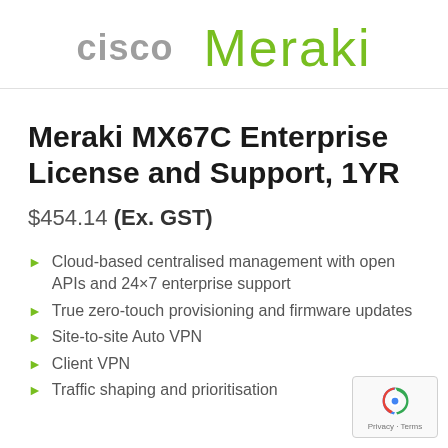[Figure (logo): Cisco and Meraki logos side by side at top of page]
Meraki MX67C Enterprise License and Support, 1YR
$454.14 (Ex. GST)
Cloud-based centralised management with open APIs and 24×7 enterprise support
True zero-touch provisioning and firmware updates
Site-to-site Auto VPN
Client VPN
Traffic shaping and prioritisation